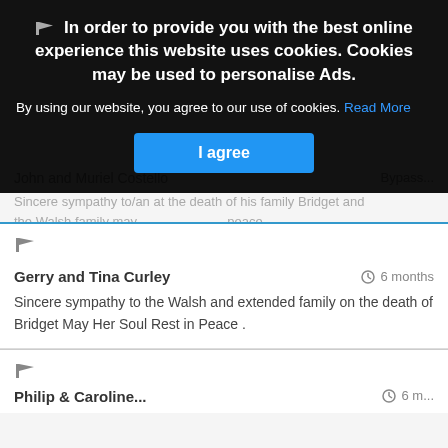In order to provide you with the best online experience this website uses cookies. Cookies may be used to personalise Ads.
By using our website, you agree to our use of cookies. Read More
I agree
John and Muriel Costello
Sincere sympathy to/on the death of his family Bridget and the Walsh family may ... peace
Gerry and Tina Curley
6 months
Sincere sympathy to the Walsh and extended family on the death of Bridget May Her Soul Rest in Peace .
Philip & Caroline...